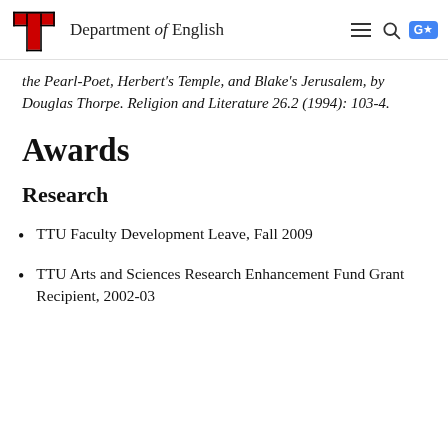Department of English
the Pearl-Poet, Herbert's Temple, and Blake's Jerusalem, by Douglas Thorpe. Religion and Literature 26.2 (1994): 103-4.
Awards
Research
TTU Faculty Development Leave, Fall 2009
TTU Arts and Sciences Research Enhancement Fund Grant Recipient, 2002-03